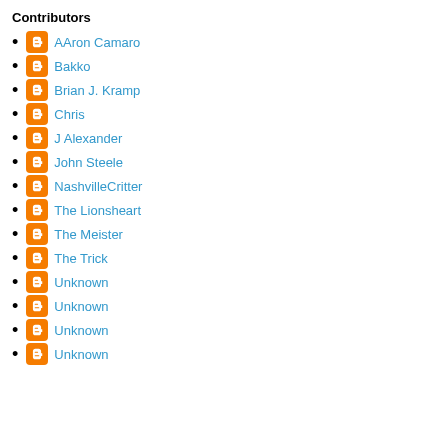Contributors
AAron Camaro
Bakko
Brian J. Kramp
Chris
J Alexander
John Steele
NashvilleCritter
The Lionsheart
The Meister
The Trick
Unknown
Unknown
Unknown
Unknown